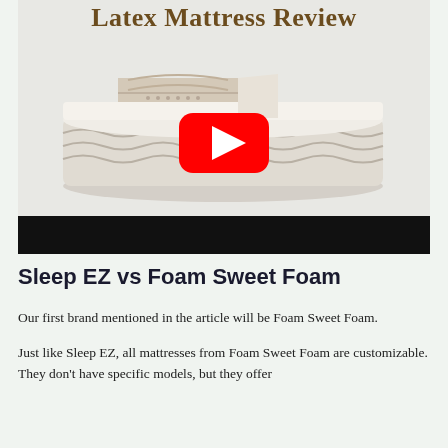[Figure (screenshot): YouTube video thumbnail showing a latex mattress cross-section with the title 'Latex Mattress Review' and a YouTube play button overlay. Below the thumbnail is a black bar (video controls area).]
Sleep EZ vs Foam Sweet Foam
Our first brand mentioned in the article will be Foam Sweet Foam.
Just like Sleep EZ, all mattresses from Foam Sweet Foam are customizable. They don't have specific models, but they offer